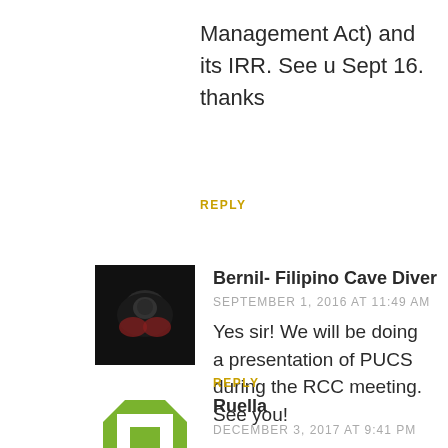Management Act) and its IRR. See u Sept 16. thanks
REPLY
[Figure (photo): Avatar photo of Bernil - Filipino Cave Diver, dark background with diving equipment]
Bernil- Filipino Cave Diver
SEPTEMBER 1, 2016 AT 11:49 AM
Yes sir! We will be doing a presentation of PUCS during the RCC meeting. See you!
REPLY
[Figure (logo): Avatar icon for Ruella, green square frame logo]
Ruella
DECEMBER 3, 2017 AT 9:41 PM